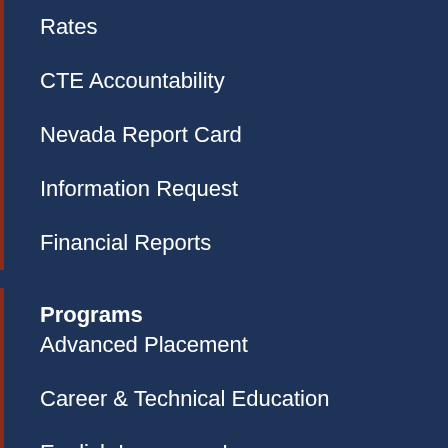Rates
CTE Accountability
Nevada Report Card
Information Request
Financial Reports
Programs
Advanced Placement
Career & Technical Education
English Language Learners
Early Childhood Special Education
Foster Care
GEAR UP
Head Start